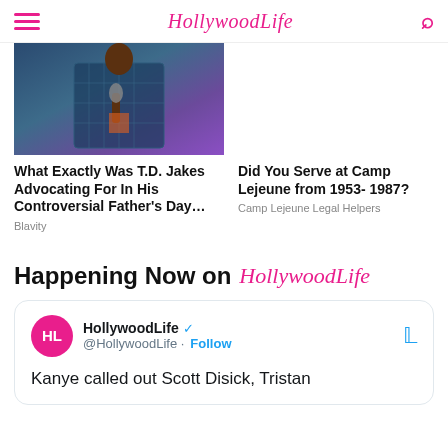HollywoodLife
[Figure (photo): Person in plaid blazer holding microphone on stage with blue/purple lighting]
What Exactly Was T.D. Jakes Advocating For In His Controversial Father's Day…
Blavity
Did You Serve at Camp Lejeune from 1953- 1987?
Camp Lejeune Legal Helpers
Happening Now on HollywoodLife
[Figure (screenshot): Tweet from @HollywoodLife: Kanye called out Scott Disick, Tristan]
Kanye called out Scott Disick, Tristan